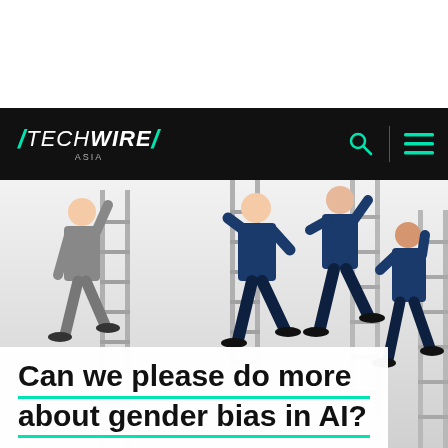TECHWIRE ASIA
[Figure (photo): Four men in business suits climbing gray metal ladders against a white wall, photographed from different angles and distances]
Can we please do more about gender bias in AI?